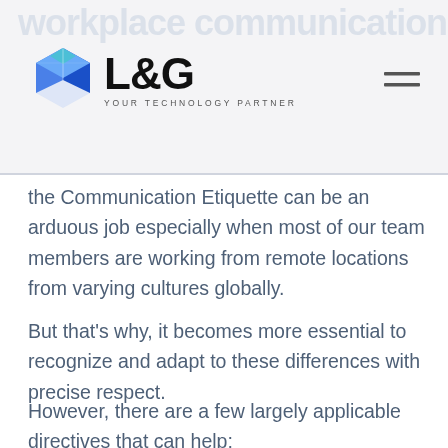workplace communication
[Figure (logo): L&G Your Technology Partner logo with hexagonal blue geometric icon]
the Communication Etiquette can be an arduous job especially when most of our team members are working from remote locations from varying cultures globally.
But that’s why, it becomes more essential to recognize and adapt to these differences with precise respect.
However, there are a few largely applicable directives that can help;